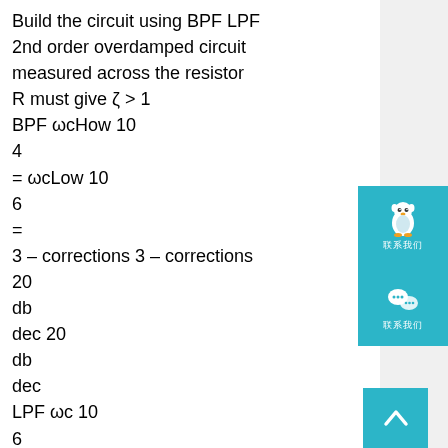Build the circuit using BPF LPF
2nd order overdamped circuit
measured across the resistor
R must give ζ > 1
BPF ωcHow 10
4
= ωcLow 10
6
=
3 – corrections 3 – corrections
20
db
dec 20
db
dec
LPF ωc 10
6
double ( ) =
need 0dB correction at 10^6 2nd order underdamped ζ=0.5
40
db
dec
[Figure (other): QQ social media button icon (penguin) with Chinese text label, teal background]
[Figure (other): WeChat social media button icon with Chinese text label, teal background]
[Figure (other): Scroll-to-top button with up arrow chevron, teal background]